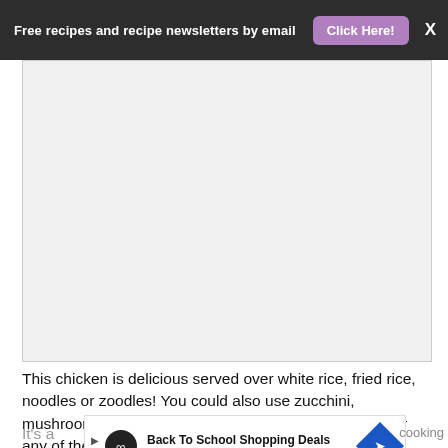Free recipes and recipe newsletters by email  Click Here!  X
[Figure (other): Advertisement placeholder image area with three navigation dots]
This chicken is delicious served over white rice, fried rice, noodles or zoodles! You could also use zucchini, mushrooms, bell pepper or shrimp in place of chicken or any of the vegetables.
[Figure (other): Back To School Shopping Deals - Leesburg Premium Outlets advertisement banner]
It's a...  cooking